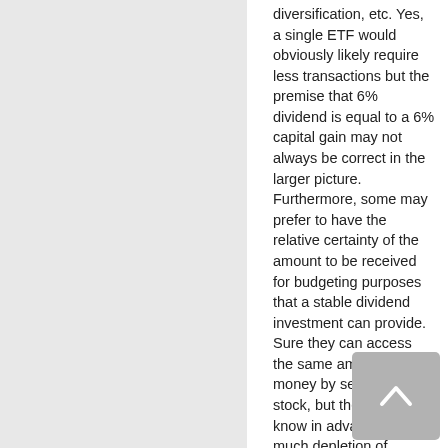diversification, etc. Yes, a single ETF would obviously likely require less transactions but the premise that 6% dividend is equal to a 6% capital gain may not always be correct in the larger picture. Furthermore, some may prefer to have the relative certainty of the amount to be received for budgeting purposes that a stable dividend investment can provide. Sure they can access the same amount of money by selling more stock, but they will not know in advance how much depletion of principle will be required to do so. Some may not care, it's up to them and their